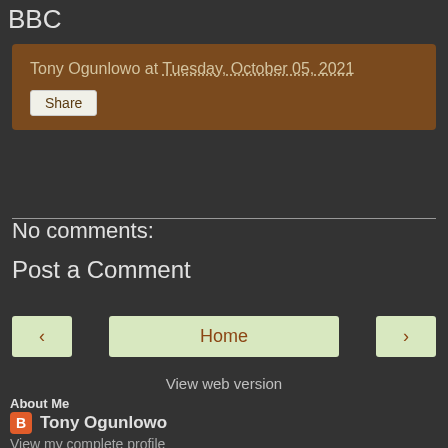BBC
Tony Ogunlowo at Tuesday, October 05, 2021
Share
No comments:
Post a Comment
‹
Home
›
View web version
About Me
Tony Ogunlowo
View my complete profile
Powered by Blogger.